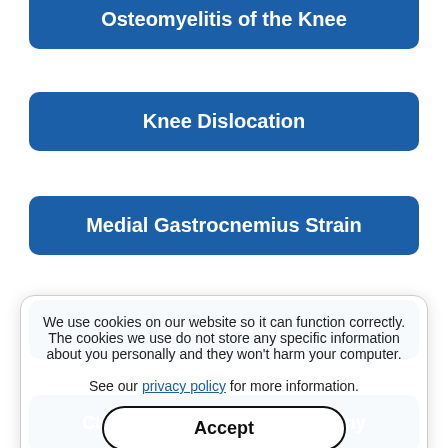Osteomyelitis of the Knee
Knee Dislocation
Medial Gastrocnemius Strain
Knock Knees
Chronic Hamstring Tendinopathy
Patellar Tracking Disorder/Patellar Tracking
Spontaneous Osteonecrosis of the Knee
We use cookies on our website so it can function correctly. The cookies we use do not store any specific information about you personally and they won't harm your computer. See our privacy policy for more information.
Accept